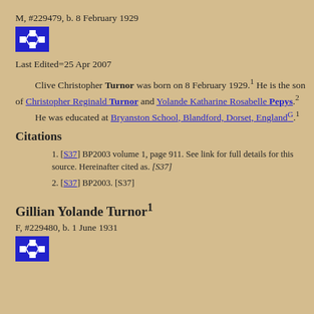M, #229479, b. 8 February 1929
[Figure (other): Blue icon button with family tree/relationship symbol]
Last Edited=25 Apr 2007
Clive Christopher Turnor was born on 8 February 1929.1 He is the son of Christopher Reginald Turnor and Yolande Katharine Rosabelle Pepys.2 He was educated at Bryanston School, Blandford, Dorset, EnglandG.1
Citations
[S37] BP2003 volume 1, page 911. See link for full details for this source. Hereinafter cited as. [S37]
[S37] BP2003. [S37]
Gillian Yolande Turnor1
F, #229480, b. 1 June 1931
[Figure (other): Blue icon button with family tree/relationship symbol]